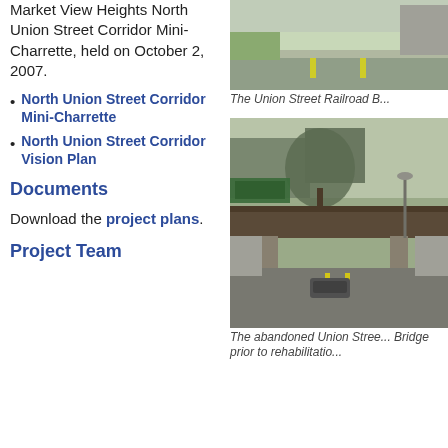Market View Heights North Union Street Corridor Mini-Charrette, held on October 2, 2007.
North Union Street Corridor Mini-Charrette
North Union Street Corridor Vision Plan
Documents
Download the project plans.
Project Team
[Figure (photo): Aerial or street-level view of Union Street Railroad Bridge area, showing road and green grass]
The Union Street Railroad B...
[Figure (photo): The abandoned Union Street Railroad Bridge prior to rehabilitation, showing bridge over road with buildings in background]
The abandoned Union Stree... Bridge prior to rehabilitatio...